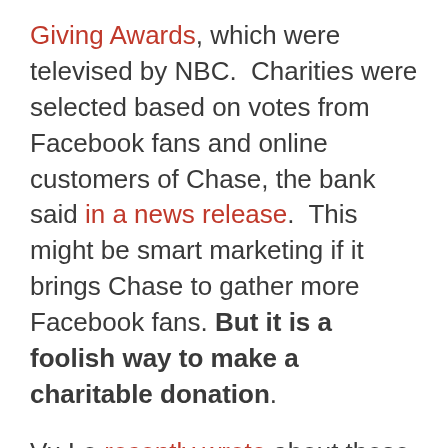Giving Awards, which were televised by NBC.  Charities were selected based on votes from Facebook fans and online customers of Chase, the bank said in a news release.  This might be smart marketing if it brings Chase to gather more Facebook fans. But it is a foolish way to make a charitable donation.
Vu Le recently wrote about these popularity contests, saying:
If you are with a company that conducts these types of grants, I am begging you, please shut them down and never have another one again. I